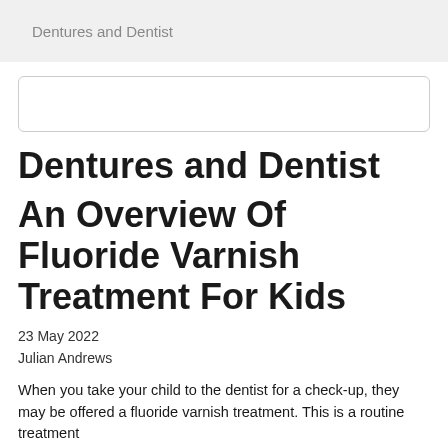Dentures and Dentist
[Figure (other): Search input box, empty, with rounded border]
Dentures and Dentist
An Overview Of Fluoride Varnish Treatment For Kids
23 May 2022
Julian Andrews
When you take your child to the dentist for a check-up, they may be offered a fluoride varnish treatment. This is a routine treatment